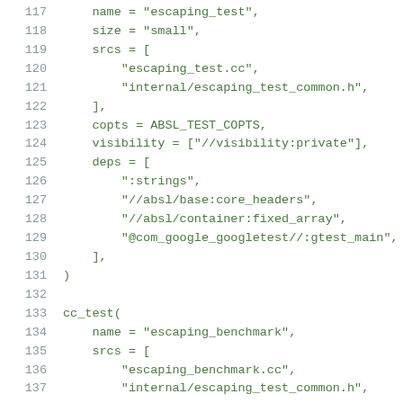Code listing lines 117–137 showing a BUILD/Bazel configuration with cc_test targets for escaping_test and escaping_benchmark.